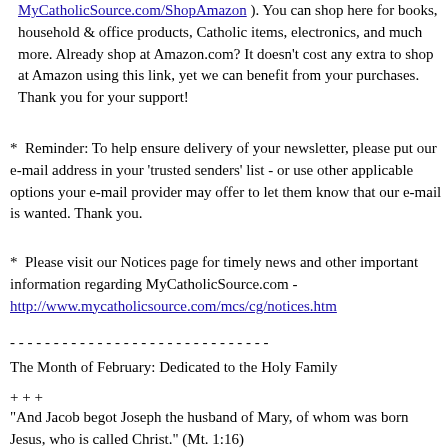MyCatholicSource.com/ShopAmazon ). You can shop here for books, household & office products, Catholic items, electronics, and much more. Already shop at Amazon.com? It doesn't cost any extra to shop at Amazon using this link, yet we can benefit from your purchases. Thank you for your support!
* Reminder: To help ensure delivery of your newsletter, please put our e-mail address in your 'trusted senders' list - or use other applicable options your e-mail provider may offer to let them know that our e-mail is wanted. Thank you.
* Please visit our Notices page for timely news and other important information regarding MyCatholicSource.com - http://www.mycatholicsource.com/mcs/cg/notices.htm
- - - - - - - - - - - - - - - - - - - - - - - - - - - - - -
The Month of February: Dedicated to the Holy Family
+ + +
"And Jacob begot Joseph the husband of Mary, of whom was born Jesus, who is called Christ." (Mt. 1:16)
"Lord Jesus Christ, who, being made subject to Mary and Joseph, didst consecrate domestic life by Thine ineffable virtues; grant that